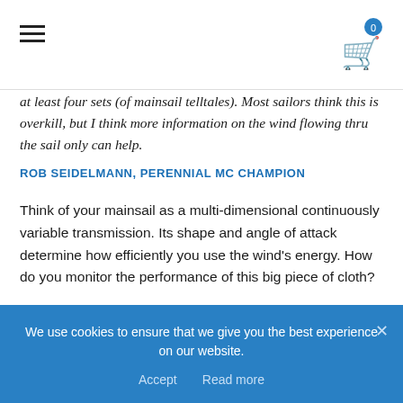Navigation bar with hamburger menu and cart icon
at least four sets (of mainsail telltales). Most sailors think this is overkill, but I think more information on the wind flowing thru the sail only can help.
ROB SEIDELMANN, PERENNIAL MC CHAMPION
Think of your mainsail as a multi-dimensional continuously variable transmission. Its shape and angle of attack determine how efficiently you use the wind's energy. How do you monitor the performance of this big piece of cloth?
One strategy about telltales on the luff...
We use cookies to ensure that we give you the best experience on our website. Accept  Read more